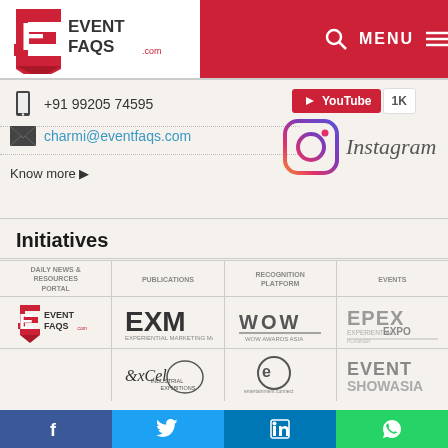[Figure (logo): EventFAQs.com logo with red E arrow and text EVENTFAQS.COM]
[Figure (screenshot): Navigation menu bar with search icon, MENU text and hamburger icon on red background]
+91 99205 74595
charmi@eventfaqs.com
Know more ▶
[Figure (logo): YouTube button with 1K count]
[Figure (logo): Instagram logo with text Instagram]
Initiatives
DAILY NEWS & RESOURCES PORTAL
PUBLICATIONS
RECOGNITION PLATFORM
EVENTS
[Figure (logo): EventFAQs logo]
[Figure (logo): EXM Experiential Marketing Magazine logo]
[Figure (logo): WOW Awards Asia logo]
[Figure (logo): EPEX Experiential Planners Expo logo]
[Figure (logo): ExCel Industrial Exhibitions logo]
[Figure (logo): Entertainment Connect logo]
[Figure (logo): Event Show Asia logo]
[Figure (logo): Facebook icon in blue bar]
[Figure (logo): Twitter icon in cyan bar]
[Figure (logo): LinkedIn icon in blue bar]
[Figure (logo): WhatsApp icon in green bar]